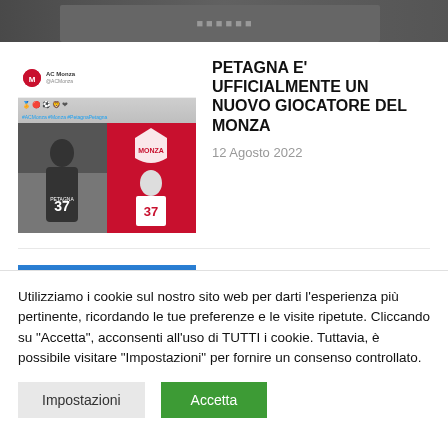[Figure (photo): Partially visible banner image at top of page, appears to be a sports/news website header]
[Figure (screenshot): AC Monza social media post screenshot showing player Petagna holding jersey number 37, alongside Monza logo and red background]
PETAGNA E' UFFICIALMENTE UN NUOVO GIOCATORE DEL MONZA
12 Agosto 2022
[Figure (photo): Photo of Lobotka in blue Napoli jersey on green pitch background]
LOBOTKA ALLA RADIO UFFICIALE: “SONO CERTO CHE
Utilizziamo i cookie sul nostro sito web per darti l’esperienza più pertinente, ricordando le tue preferenze e le visite ripetute. Cliccando su "Accetta", acconsenti all’uso di TUTTI i cookie. Tuttavia, è possibile visitare "Impostazioni" per fornire un consenso controllato.
Impostazioni
Accetta